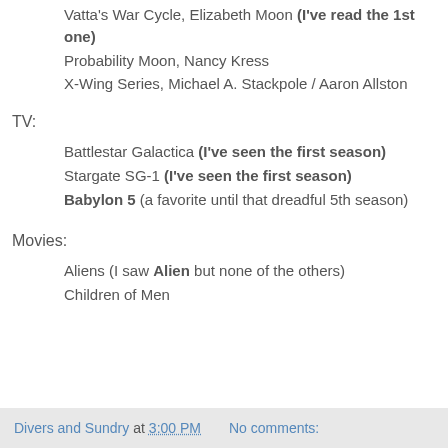Vatta's War Cycle, Elizabeth Moon (I've read the 1st one)
Probability Moon, Nancy Kress
X-Wing Series, Michael A. Stackpole / Aaron Allston
TV:
Battlestar Galactica (I've seen the first season)
Stargate SG-1 (I've seen the first season)
Babylon 5 (a favorite until that dreadful 5th season)
Movies:
Aliens (I saw Alien but none of the others)
Children of Men
Divers and Sundry at 3:00 PM   No comments: